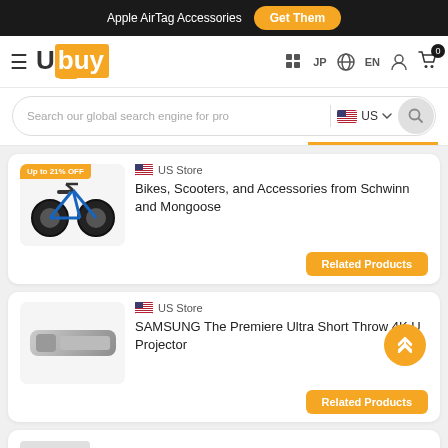Apple AirTag Accessories  Get Them
[Figure (logo): Ubuy logo with orange background on 'buy' portion]
Search our global search engine for pro  US
Up to 21% OFF  US Store  Bikes, Scooters, and Accessories from Schwinn and Mongoose  Related Products
US Store  SAMSUNG The Premiere Ultra Short Throw 4K U Projector  Related Products